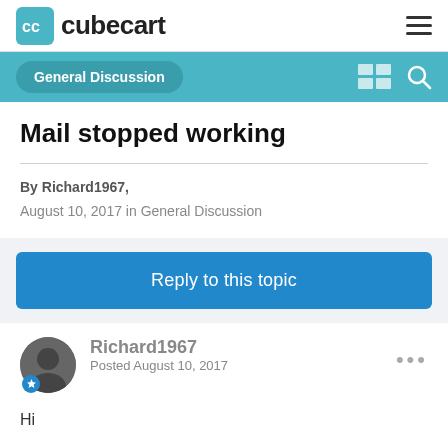cubecart
General Discussion
Mail stopped working
By Richard1967,
August 10, 2017 in General Discussion
Reply to this topic
Richard1967
Posted August 10, 2017
Hi
V6 latest version, the mail has stopped working with error